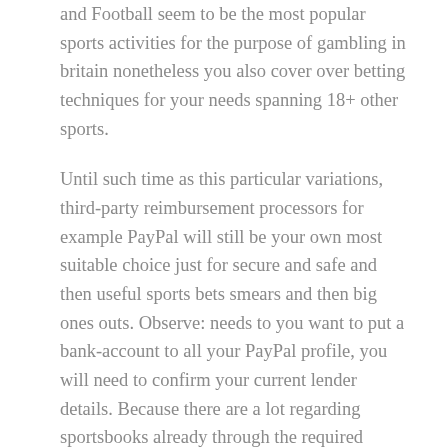and Football seem to be the most popular sports activities for the purpose of gambling in britain nonetheless you also cover over betting techniques for your needs spanning 18+ other sports.
Until such time as this particular variations, third-party reimbursement processors for example PayPal will still be your own most suitable choice just for secure and safe and then useful sports bets smears and then big ones outs. Observe: needs to you want to put a bank-account to all your PayPal profile, you will need to confirm your current lender details. Because there are a lot regarding sportsbooks already through the required permits to provide physical activities gaming suppliers to be able to the general public, it is extremely difficult to get the best operator. Having PayPal you've selecting the capital ones gambling bill inside the foreign money of one's choice. If